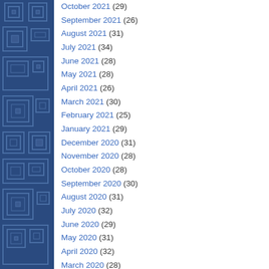[Figure (illustration): Blue decorative sidebar with geometric maze/square pattern in dark blue]
October 2021 (29)
September 2021 (26)
August 2021 (31)
July 2021 (34)
June 2021 (28)
May 2021 (28)
April 2021 (26)
March 2021 (30)
February 2021 (25)
January 2021 (29)
December 2020 (31)
November 2020 (28)
October 2020 (28)
September 2020 (30)
August 2020 (31)
July 2020 (32)
June 2020 (29)
May 2020 (31)
April 2020 (32)
March 2020 (28)
February 2020 (29)
January 2020 (31)